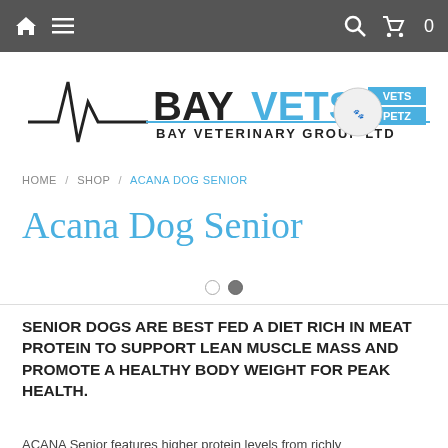Home navigation bar with home icon, menu icon, search icon, cart icon (0 items)
[Figure (logo): BayVets Bay Veterinary Group Ltd logo incorporating Vets Petz]
HOME / SHOP / ACANA DOG SENIOR
Acana Dog Senior
SENIOR DOGS ARE BEST FED A DIET RICH IN MEAT PROTEIN TO SUPPORT LEAN MUSCLE MASS AND PROMOTE A HEALTHY BODY WEIGHT FOR PEAK HEALTH.
ACANA Senior features higher protein levels from richly...